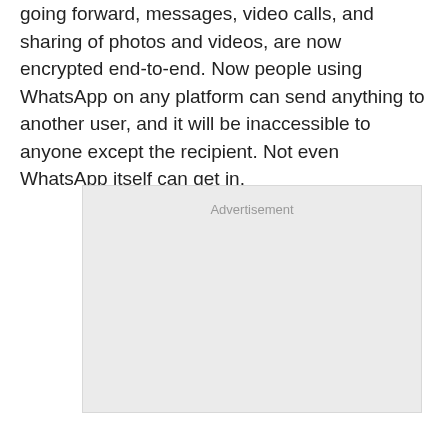going forward, messages, video calls, and sharing of photos and videos, are now encrypted end-to-end. Now people using WhatsApp on any platform can send anything to another user, and it will be inaccessible to anyone except the recipient. Not even WhatsApp itself can get in.
[Figure (other): Advertisement placeholder box with light gray background and 'Advertisement' label at the top center]